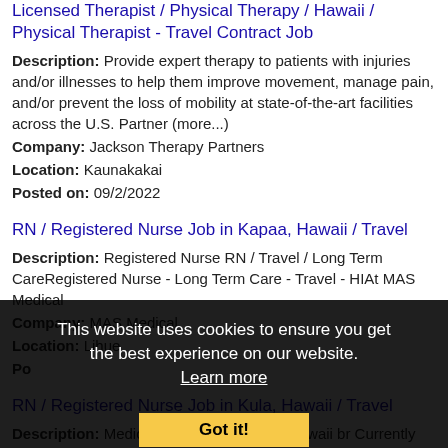Licensed Therapist / Physical Therapy / Hawaii / Physical Therapist - Travel Contract Job
Description: Provide expert therapy to patients with injuries and/or illnesses to help them improve movement, manage pain, and/or prevent the loss of mobility at state-of-the-art facilities across the U.S. Partner (more...)
Company: Jackson Therapy Partners
Location: Kaunakakai
Posted on: 09/2/2022
RN / Registered Nurse Job in Kapaa, Hawaii / Travel
Description: Registered Nurse RN / Travel / Long Term CareRegistered Nurse - Long Term Care - Travel - HIAt MAS Medical
Company: MAS Medical
Location: Lihue
Posted on:
RN / Registered Nurse Job in Kula, Hawaii / Travel
Description: Medical-Surgical Nurses br Hawaii br Currently seeking a Medical-Surgical Nurse for an excellent opportunity in the Hawaii area. The ideal candidate will possess 1 year of med surg experience. This (more...)
Company: MAS Medical
Location: Kula
This website uses cookies to ensure you get the best experience on our website. Learn more Got it!